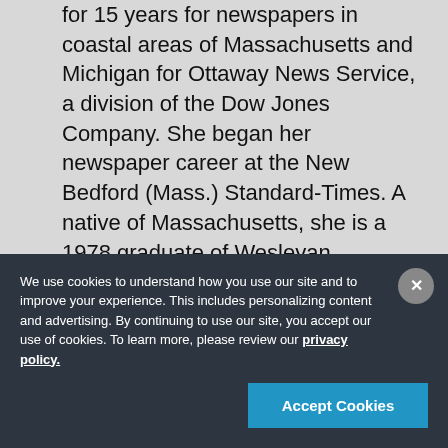for 15 years for newspapers in coastal areas of Massachusetts and Michigan for Ottaway News Service, a division of the Dow Jones Company. She began her newspaper career at the New Bedford (Mass.) Standard-Times. A native of Massachusetts, she is a 1978 graduate of Wesleyan
We use cookies to understand how you use our site and to improve your experience. This includes personalizing content and advertising. By continuing to use our site, you accept our use of cookies. To learn more, please review our privacy policy.